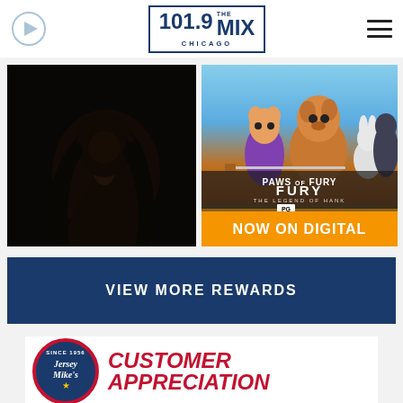101.9 THE MIX CHICAGO
[Figure (photo): Woman with long dark hair against dark background, artistic portrait]
[Figure (photo): Paws of Fury: The Legend of Hank animated movie poster with cartoon animal characters, NOW ON DIGITAL orange banner]
VIEW MORE REWARDS
[Figure (logo): Jersey Mike's logo circle with CUSTOMER APPRECIATION text]